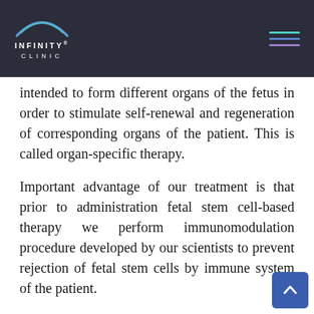Infinity Clinic
intended to form different organs of the fetus in order to stimulate self-renewal and regeneration of corresponding organs of the patient. This is called organ-specific therapy.
Important advantage of our treatment is that prior to administration fetal stem cell-based therapy we perform immunomodulation procedure developed by our scientists to prevent rejection of fetal stem cells by immune system of the patient.
According to our personalized approach, in case if patient has several diseases or several complications on a single disease (for example, patients with diabetes has diabetic neuropathy,